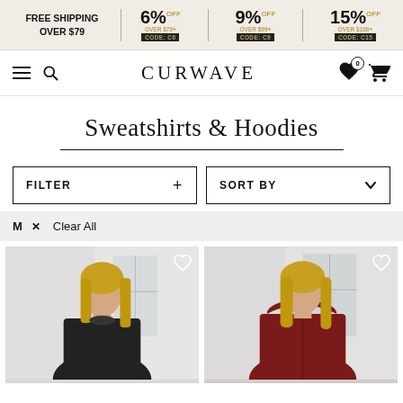FREE SHIPPING OVER $79 | 6% OFF OVER $79+ CODE: C6 | 9% OFF OVER $99+ CODE: C9 | 15% OFF OVER $109+ CODE: C15
[Figure (logo): CURWAVE brand navigation bar with hamburger menu, search icon, logo, wishlist (0) and cart icons]
Sweatshirts & Hoodies
FILTER + | SORT BY
M × Clear All
[Figure (photo): Two product photos side by side: left shows a woman in a black sweatshirt with wishlist heart icon; right shows a woman in a dark red/burgundy hoodie with wishlist heart icon]